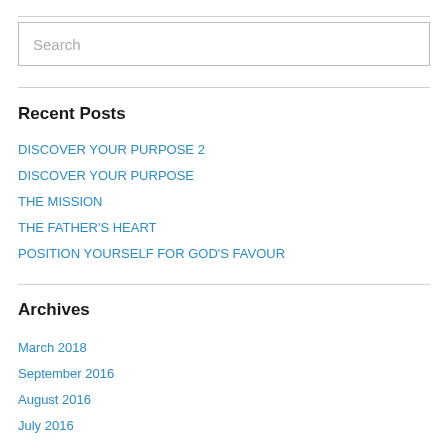Search
Recent Posts
DISCOVER YOUR PURPOSE 2
DISCOVER YOUR PURPOSE
THE MISSION
THE FATHER'S HEART
POSITION YOURSELF FOR GOD'S FAVOUR
Archives
March 2018
September 2016
August 2016
July 2016